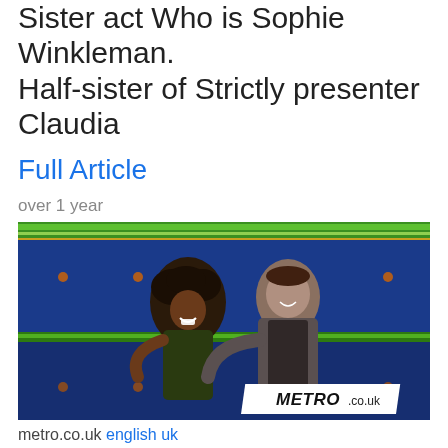Sister act Who is Sophie Winkleman. Half-sister of Strictly presenter Claudia
Full Article
over 1 year
[Figure (photo): Two people hugging on a TV dance show stage with green and blue decorative backdrop. METRO.co.uk watermark visible in bottom right corner.]
metro.co.uk english uk
Strictly: Claudia Winkleman tells AJ and Kai it's the 'right time' to kiss